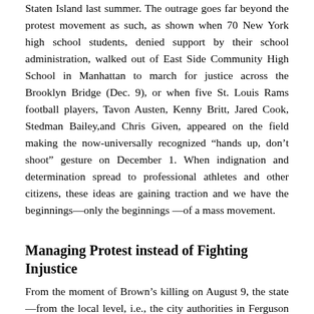Staten Island last summer. The outrage goes far beyond the protest movement as such, as shown when 70 New York high school students, denied support by their school administration, walked out of East Side Community High School in Manhattan to march for justice across the Brooklyn Bridge (Dec. 9), or when five St. Louis Rams football players, Tavon Austen, Kenny Britt, Jared Cook, Stedman Bailey,and Chris Given, appeared on the field making the now-universally recognized “hands up, don’t shoot” gesture on December 1. When indignation and determination spread to professional athletes and other citizens, these ideas are gaining traction and we have the beginnings—only the beginnings—of a mass movement.
Managing Protest instead of Fighting Injustice
From the moment of Brown’s killing on August 9, the state—from the local level, i.e., the city authorities in Ferguson itself, through the state level,Missouri Gov. Jay Nixon, to the nation-al level, President Obama and Attorney General Holder—have been concerned above all with managing the protests and not with changing or even naming the conditions that led to the protests.This “crisis management”—of the wrong crisis—has largely taken the form of contrasting peaceful with violent protest,